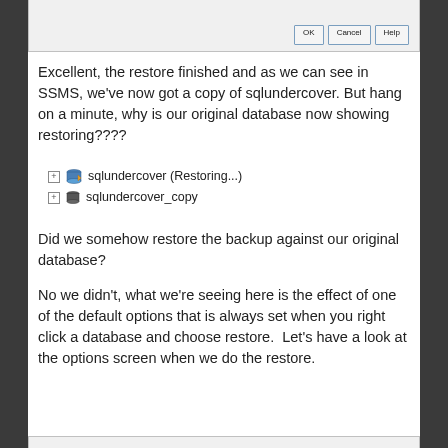[Figure (screenshot): Top portion of a dialog box with OK, Cancel, and Help buttons visible at the bottom right]
Excellent, the restore finished and as we can see in SSMS, we've now got a copy of sqlundercover.  But hang on a minute, why is our original database now showing restoring????
[Figure (screenshot): SSMS object explorer showing two database entries: 'sqlundercover (Restoring...)' with a database icon with arrow, and 'sqlundercover_copy' with a plain database icon, each with an expand [+] icon.]
Did we somehow restore the backup against our original database?
No we didn't, what we're seeing here is the effect of one of the default options that is always set when you right click a database and choose restore.  Let's have a look at the options screen when we do the restore.
[Figure (screenshot): Bottom portion of another dialog box, partially visible at the bottom of the page]